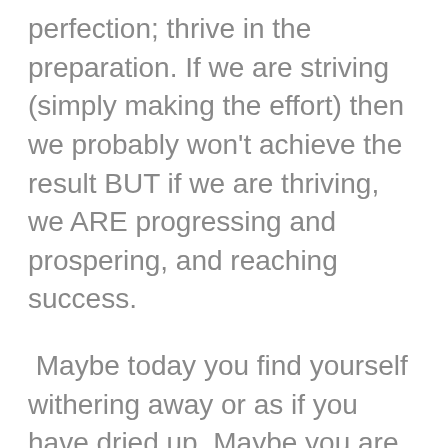perfection; thrive in the preparation. If we are striving (simply making the effort) then we probably won't achieve the result BUT if we are thriving, we ARE progressing and prospering, and reaching success.
Maybe today you find yourself withering away or as if you have dried up. Maybe you are feeling the thirst for the Living Water to refresh your leaves once again. I have been there!  It's a good thing if we are able to discern that we are withering away or drying up and in need of drawing closer to the stream of Living Water to get refreshed and